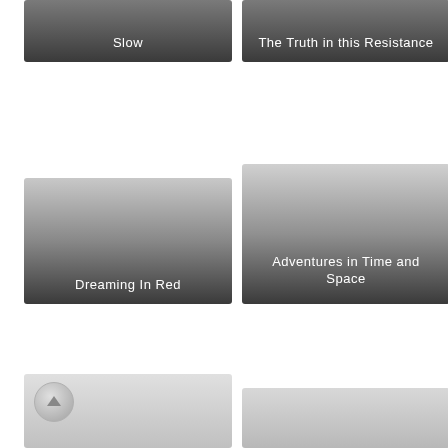[Figure (illustration): Card thumbnail with gradient background labeled 'Slow']
[Figure (illustration): Card thumbnail with gradient background labeled 'The Truth in this Resistance']
[Figure (illustration): Card thumbnail with gradient background labeled 'Dreaming In Red']
[Figure (illustration): Card thumbnail with gradient background labeled 'Adventures in Time and Space']
[Figure (illustration): Partially visible card thumbnail at bottom left with up-arrow navigation button]
[Figure (illustration): Partially visible card thumbnail at bottom right]